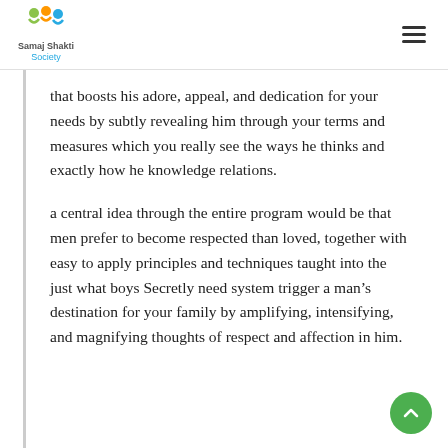Samaj Shakti Society
that boosts his adore, appeal, and dedication for your needs by subtly revealing him through your terms and measures which you really see the ways he thinks and exactly how he knowledge relations.
a central idea through the entire program would be that men prefer to become respected than loved, together with easy to apply principles and techniques taught into the just what boys Secretly need system trigger a man’s destination for your family by amplifying, intensifying, and magnifying thoughts of respect and affection in him.